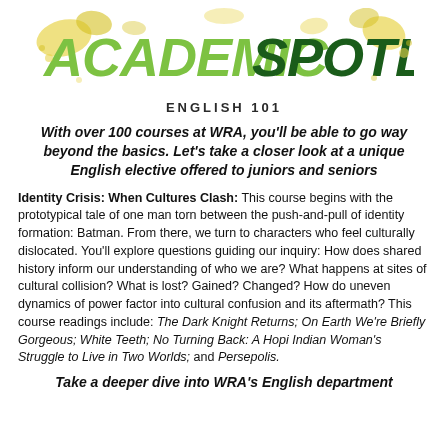[Figure (logo): Academic Spotlight logo with stylized green and dark green text and yellow paint splatter background, with 'ENGLISH 101' subtitle]
With over 100 courses at WRA, you'll be able to go way beyond the basics. Let's take a closer look at a unique English elective offered to juniors and seniors
Identity Crisis: When Cultures Clash: This course begins with the prototypical tale of one man torn between the push-and-pull of identity formation: Batman. From there, we turn to characters who feel culturally dislocated. You'll explore questions guiding our inquiry: How does shared history inform our understanding of who we are? What happens at sites of cultural collision? What is lost? Gained? Changed? How do uneven dynamics of power factor into cultural confusion and its aftermath? This course readings include: The Dark Knight Returns; On Earth We're Briefly Gorgeous; White Teeth; No Turning Back: A Hopi Indian Woman's Struggle to Live in Two Worlds; and Persepolis.
Take a deeper dive into WRA's English department